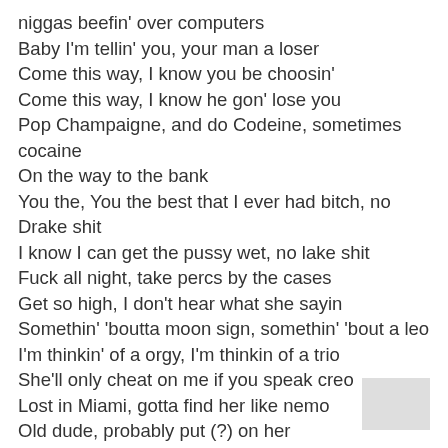niggas beefin' over computers
Baby I'm tellin' you, your man a loser
Come this way, I know you be choosin'
Come this way, I know he gon' lose you
Pop Champaigne, and do Codeine, sometimes cocaine
On the way to the bank
You the, You the best that I ever had bitch, no Drake shit
I know I can get the pussy wet, no lake shit
Fuck all night, take percs by the cases
Get so high, I don't hear what she sayin
Somethin' 'boutta moon sign, somethin' 'bout a leo
I'm thinkin' of a orgy, I'm thinkin of a trio
She'll only cheat on me if you speak creo
Lost in Miami, gotta find her like nemo
Old dude, probably put (?) on her
Not surprised
Hope she ain't try to put who on me